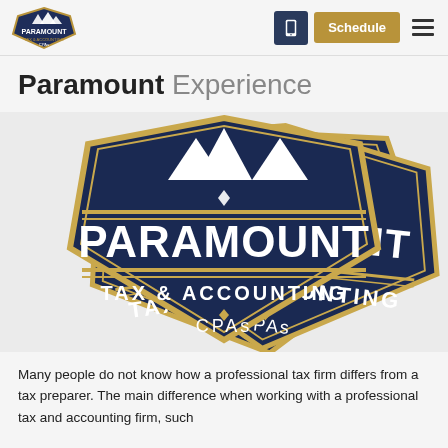Paramount Tax & Accounting CPAs — Schedule — Navigation
Paramount Experience
[Figure (logo): Paramount Tax & Accounting CPAs logo — a large dark navy blue badge/crest shape with gold trim borders, white mountain peaks at top, and bold white text reading PARAMOUNT on a banner, TAX & ACCOUNTING below, and CPAs at the bottom. Multiple overlapping versions of the badge are shown.]
Many people do not know how a professional tax firm differs from a tax preparer. The main difference when working with a professional tax and accounting firm, such